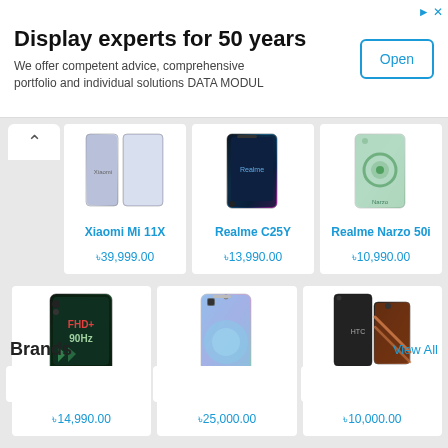[Figure (screenshot): Advertisement banner: Display experts for 50 years with Open button]
Display experts for 50 years
We offer competent advice, comprehensive portfolio and individual solutions DATA MODUL
[Figure (screenshot): Xiaomi Mi 11X phone product image]
Xiaomi Mi 11X
৳39,999.00
[Figure (screenshot): Realme C25Y phone product image]
Realme C25Y
৳13,990.00
[Figure (screenshot): Realme Narzo 50i phone product image]
Realme Narzo 50i
৳10,990.00
[Figure (screenshot): Infinix Hot 11S phone product image]
Infinix Hot 11S
৳14,990.00
[Figure (screenshot): Vivo Y71t phone product image]
Vivo Y71t
৳25,000.00
[Figure (screenshot): HTC Wildfire E2 phone product image]
HTC Wildfire E2
৳10,000.00
Brands
View All